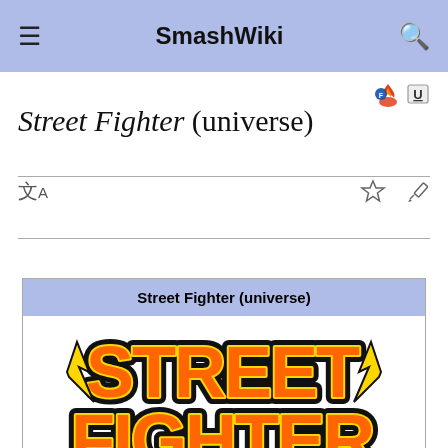SmashWiki
Street Fighter (universe)
[Figure (logo): Street Fighter logo — stylized orange and yellow letters with black outline on white background]
| Street Fighter (universe) |
| --- |
| [Street Fighter logo image] |